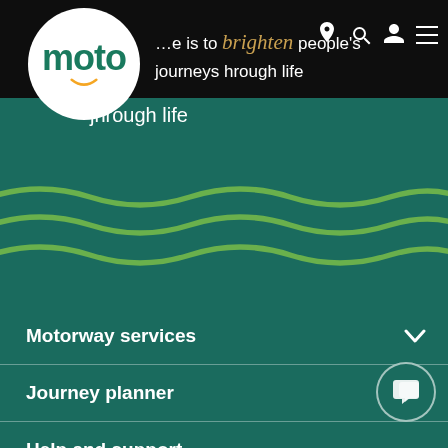[Figure (logo): Moto logo — white circle with teal 'moto' text and yellow smile arc]
…e is to brighten people's journeys through life
[Figure (illustration): Three horizontal wavy green lines on teal background — decorative wave pattern]
Motorway services
Journey planner
Help and support
Brands